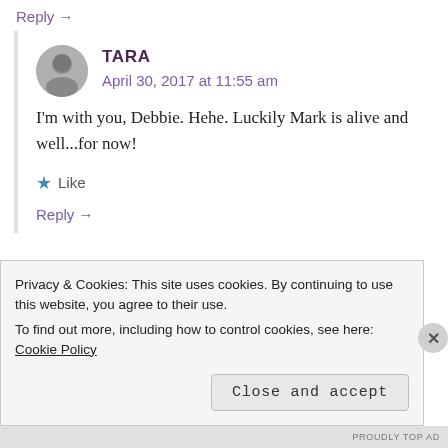Reply →
TARA
April 30, 2017 at 11:55 am
I'm with you, Debbie. Hehe. Luckily Mark is alive and well...for now!
★ Like
Reply →
Privacy & Cookies: This site uses cookies. By continuing to use this website, you agree to their use.
To find out more, including how to control cookies, see here: Cookie Policy
Close and accept
PROUDLY TOP AD